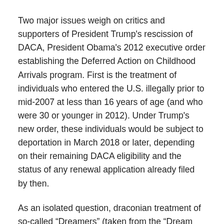Two major issues weigh on critics and supporters of President Trump's rescission of DACA, President Obama's 2012 executive order establishing the Deferred Action on Childhood Arrivals program. First is the treatment of individuals who entered the U.S. illegally prior to mid-2007 at less than 16 years of age (and who were 30 or younger in 2012). Under Trump's new order, these individuals would be subject to deportation in March 2018 or later, depending on their remaining DACA eligibility and the status of any renewal application already filed by then.
As an isolated question, draconian treatment of so-called “Dreamers” (taken from the “Dream Act”, which never made it through Congress) is difficult to justify. These individuals did not arrive here by choice or through any fault of their own, and the vast majority are now productive